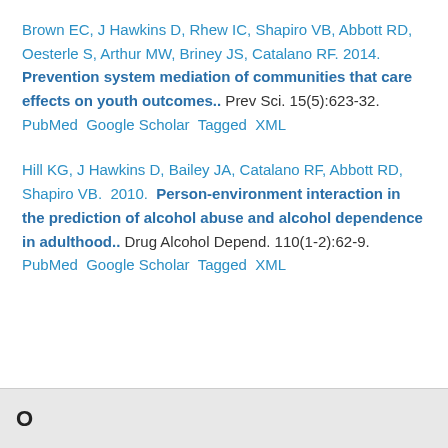Brown EC, J Hawkins D, Rhew IC, Shapiro VB, Abbott RD, Oesterle S, Arthur MW, Briney JS, Catalano RF. 2014. Prevention system mediation of communities that care effects on youth outcomes.. Prev Sci. 15(5):623-32. PubMed Google Scholar Tagged XML
Hill KG, J Hawkins D, Bailey JA, Catalano RF, Abbott RD, Shapiro VB. 2010. Person-environment interaction in the prediction of alcohol abuse and alcohol dependence in adulthood.. Drug Alcohol Depend. 110(1-2):62-9. PubMed Google Scholar Tagged XML
O